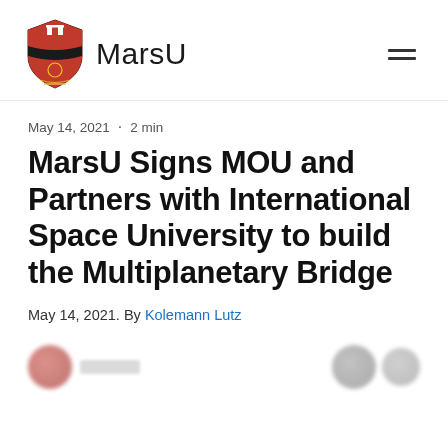MarsU
May 14, 2021 · 2 min
MarsU Signs MOU and Partners with International Space University to build the Multiplanetary Bridge
May 14, 2021. By Kolemann Lutz
[Figure (other): Blurred social media sharing icons at the bottom of the article page]